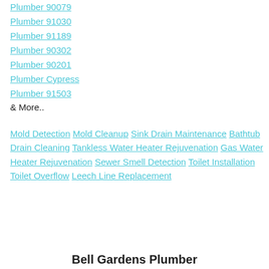Plumber 90079
Plumber 91030
Plumber 91189
Plumber 90302
Plumber 90201
Plumber Cypress
Plumber 91503
& More..
Mold Detection Mold Cleanup Sink Drain Maintenance Bathtub Drain Cleaning Tankless Water Heater Rejuvenation Gas Water Heater Rejuvenation Sewer Smell Detection Toilet Installation Toilet Overflow Leech Line Replacement
Bell Gardens Plumber